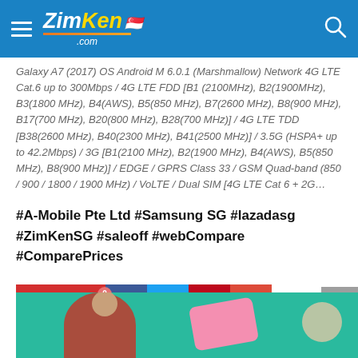ZimKen.com header navigation bar
Galaxy A7 (2017) OS Android M 6.0.1 (Marshmallow) Network 4G LTE Cat.6 up to 300Mbps / 4G LTE FDD [B1 (2100MHz), B2(1900MHz), B3(1800 MHz), B4(AWS), B5(850 MHz), B7(2600 MHz), B8(900 MHz), B17(700 MHz), B20(800 MHz), B28(700 MHz)] / 4G LTE TDD [B38(2600 MHz), B40(2300 MHz), B41(2500 MHz)] / 3.5G (HSPA+ up to 42.2Mbps) / 3G [B1(2100 MHz), B2(1900 MHz), B4(AWS), B5(850 MHz), B8(900 MHz)] / EDGE / GPRS Class 33 / GSM Quad-band (850 / 900 / 1800 / 1900 MHz) / VoLTE / Dual SIM [4G LTE Cat 6 + 2G…
#A-Mobile Pte Ltd #Samsung SG #lazadasg #ZimKenSG #saleoff #webCompare #ComparePrices
[Figure (other): Social sharing buttons row: Save (heart icon), Facebook, Twitter, Pinterest, Google Plus; scroll-to-top button on right]
[Figure (photo): Woman in red top against teal/green background with pink item, partial view]